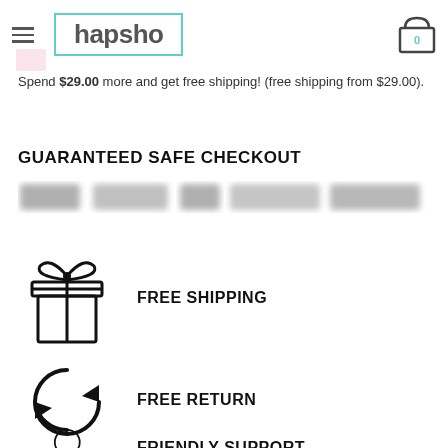hapsho
Spend $29.00 more and get free shipping! (free shipping from $29.00).
GUARANTEED SAFE CHECKOUT
[Figure (other): Blurred payment method icons (PayPal, Visa, Mastercard, etc.)]
FREE SHIPPING
FREE RETURN
FRIENDLY SUPPORT